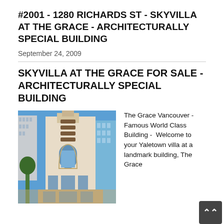#2001 - 1280 RICHARDS ST - SKYVILLA AT THE GRACE - ARCHITECTURALLY SPECIAL BUILDING
September 24, 2009
SKYVILLA AT THE GRACE FOR SALE - ARCHITECTURALLY SPECIAL BUILDING
[Figure (photo): Exterior photograph of The Grace building in Vancouver, a tall ornate architectural landmark with decorative facade, arched windows, and stacked balconies against a blue sky, with surrounding modern glass buildings visible.]
The Grace Vancouver - Famous World Class Building -  Welcome to your Yaletown villa at a landmark building, The Grace